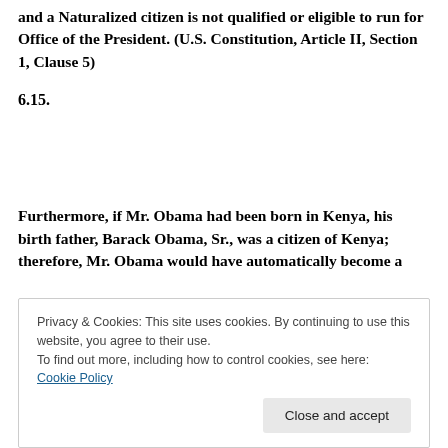and a Naturalized citizen is not qualified or eligible to run for Office of the President. (U.S. Constitution, Article II, Section 1, Clause 5)
6.15.
Furthermore, if Mr. Obama had been born in Kenya, his birth father, Barack Obama, Sr., was a citizen of Kenya; therefore, Mr. Obama would have automatically become a
Privacy & Cookies: This site uses cookies. By continuing to use this website, you agree to their use.
To find out more, including how to control cookies, see here: Cookie Policy